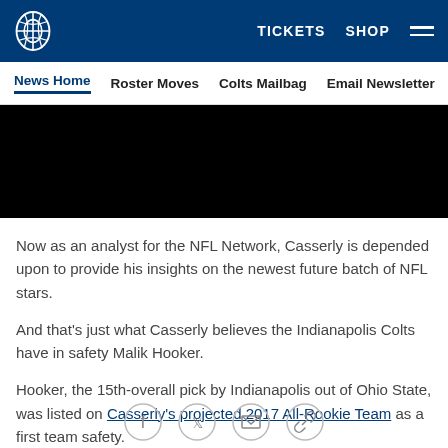Indianapolis Colts navigation bar with logo, TICKETS, SHOP, and hamburger menu
News Home | Roster Moves | Colts Mailbag | Email Newsletter | U...
[Figure (photo): Dark/black image area, partially visible article hero image]
Now as an analyst for the NFL Network, Casserly is depended upon to provide his insights on the newest future batch of NFL stars.
And that's just what Casserly believes the Indianapolis Colts have in safety Malik Hooker.
Hooker, the 15th-overall pick by Indianapolis out of Ohio State, was listed on Casserly's projected 2017 All-Rookie Team as a first team safety.
[Figure (infographic): Social sharing icons: Facebook, Twitter, Email, Link/bookmark]